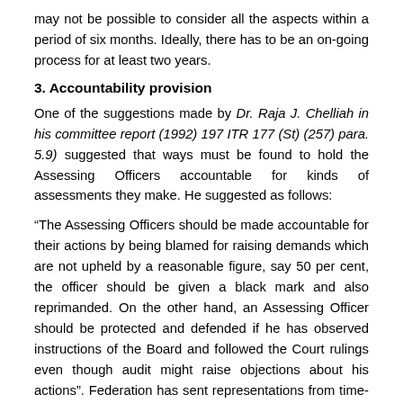may not be possible to consider all the aspects within a period of six months. Ideally, there has to be an on-going process for at least two years.
3. Accountability provision
One of the suggestions made by Dr. Raja J. Chelliah in his committee report (1992) 197 ITR 177 (St) (257) para. 5.9) suggested that ways must be found to hold the Assessing Officers accountable for kinds of assessments they make. He suggested as follows:
“The Assessing Officers should be made accountable for their actions by being blamed for raising demands which are not upheld by a reasonable figure, say 50 per cent, the officer should be given a black mark and also reprimanded. On the other hand, an Assessing Officer should be protected and defended if he has observed instructions of the Board and followed the Court rulings even though audit might raise objections about his actions”. Federation has sent representations from time-to-time to introduce the accountability provision in the Act. It is desired that the accountability provision as suggested by Dr. Raja J. Chelliah Committee may have to be incorporated in the proposed new Act. Bringing in accountability in tax administration is the first step in